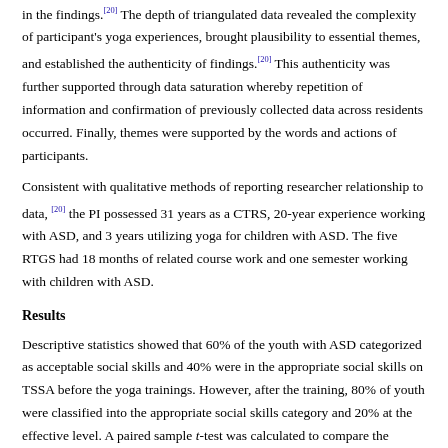in the findings.[20] The depth of triangulated data revealed the complexity of participant's yoga experiences, brought plausibility to essential themes, and established the authenticity of findings.[20] This authenticity was further supported through data saturation whereby repetition of information and confirmation of previously collected data across residents occurred. Finally, themes were supported by the words and actions of participants.
Consistent with qualitative methods of reporting researcher relationship to data, [20] the PI possessed 31 years as a CTRS, 20-year experience working with ASD, and 3 years utilizing yoga for children with ASD. The five RTGS had 18 months of related course work and one semester working with children with ASD.
Results
Descriptive statistics showed that 60% of the youth with ASD categorized as acceptable social skills and 40% were in the appropriate social skills on TSSA before the yoga trainings. However, after the training, 80% of youth were classified into the appropriate social skills category and 20% at the effective level. A paired sample t-test was calculated to compare the pretest TSSA total scores to the post-test scores. The mean on the pretest was 49.8 (standard deviation [SD] =